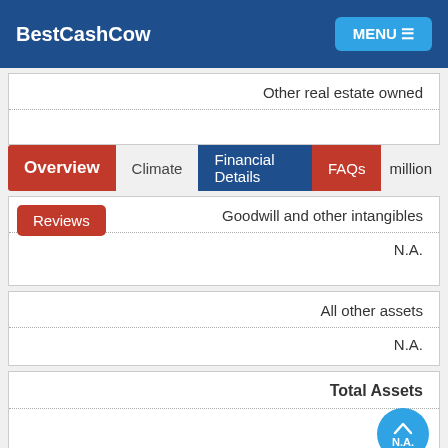BestCashCow  MENU
Other real estate owned
million
Overview  Climate  Financial Details  FAQs
Reviews
Goodwill and other intangibles
N.A.
All other assets
N.A.
Total Assets
N.A.